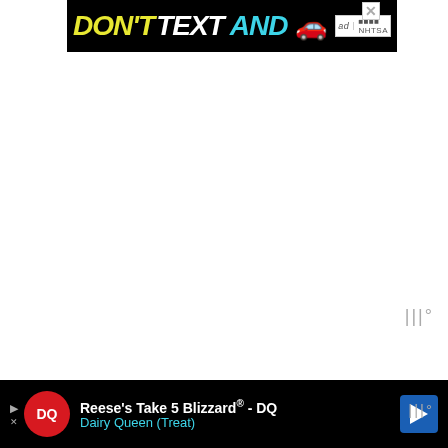[Figure (screenshot): NHTSA 'Don't Text and Drive' advertisement banner with yellow and white text on black background, red car emoji, and NHTSA logo with ad bug and close button]
I'm going to cross into a sensitive area, but I am hoping you will read the entire post and ponder
[Figure (screenshot): Dairy Queen Reese's Take 5 Blizzard advertisement banner on black background with DQ logo, headline text, and blue navigation arrow icon]